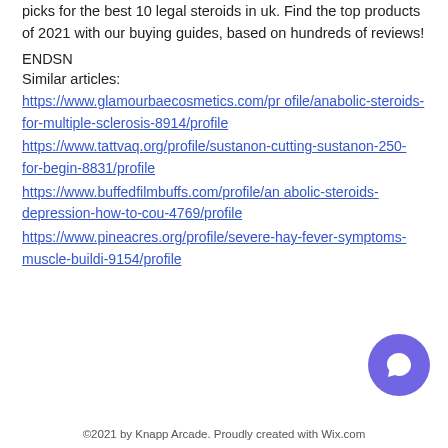picks for the best 10 legal steroids in uk. Find the top products of 2021 with our buying guides, based on hundreds of reviews!
ENDSN
Similar articles:
https://www.glamourbaecosmetics.com/profile/anabolic-steroids-for-multiple-sclerosis-8914/profile
https://www.tattvaq.org/profile/sustanon-cutting-sustanon-250-for-begin-8831/profile
https://www.buffedfilmbuffs.com/profile/anabolic-steroids-depression-how-to-cou-4769/profile
https://www.pineacres.org/profile/severe-hay-fever-symptoms-muscle-buildi-9154/profile
©2021 by Knapp Arcade. Proudly created with Wix.com